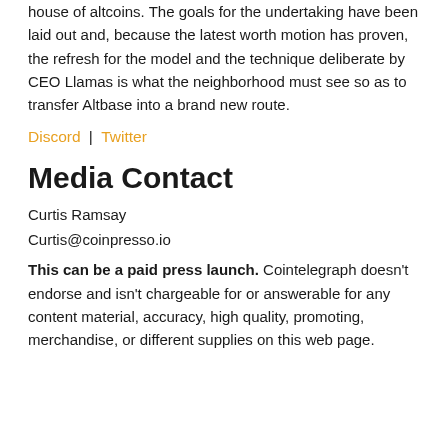house of altcoins. The goals for the undertaking have been laid out and, because the latest worth motion has proven, the refresh for the model and the technique deliberate by CEO Llamas is what the neighborhood must see so as to transfer Altbase into a brand new route.
Discord | Twitter
Media Contact
Curtis Ramsay
Curtis@coinpresso.io
This can be a paid press launch. Cointelegraph doesn't endorse and isn't chargeable for or answerable for any content material, accuracy, high quality, promoting, merchandise, or different supplies on this web page.